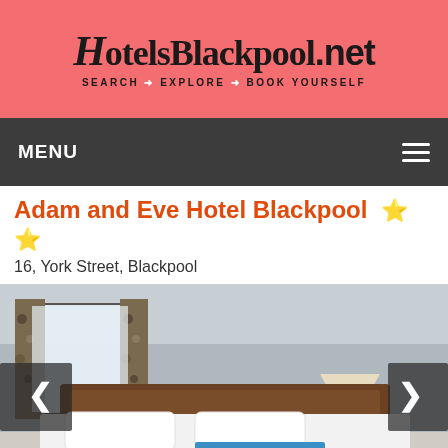[Figure (logo): HotelsBlackpool.net logo with tagline SEARCH EXPLORE BOOK YOURSELF on pink/coral background]
MENU
Adam and Eve Hotel Blackpool ⭐ ⭐
16, York Street, Blackpool
[Figure (photo): Hotel bedroom with white bed linens, blue towel on bed, wooden headboard, window with floral curtains, bedside lamp]
Get Quote   Request Callback